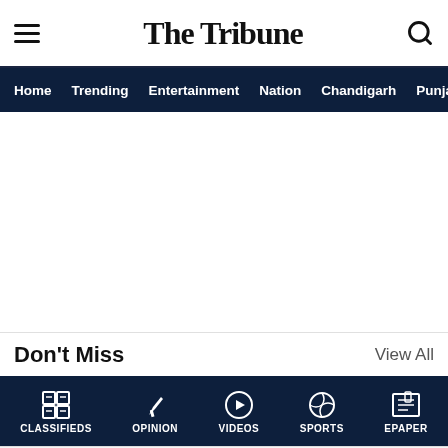The Tribune
Home  Trending  Entertainment  Nation  Chandigarh  Punjab
Don't Miss
View All
CLASSIFIEDS  OPINION  VIDEOS  SPORTS  EPAPER
Yahoo Search  Laminate Flooring Installation  OPEN